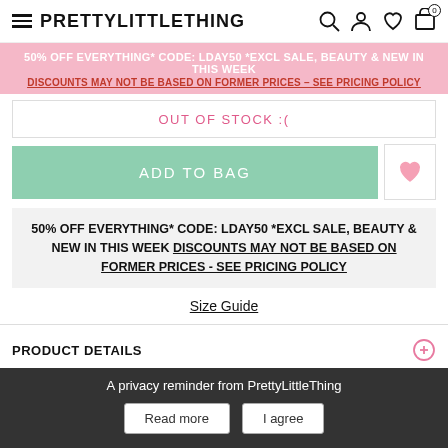PRETTYLITTLETHING
50% OFF EVERYTHING* CODE: LDAY50 *EXCL SALE, BEAUTY & NEW IN THIS WEEK DISCOUNTS MAY NOT BE BASED ON FORMER PRICES – SEE PRICING POLICY
OUT OF STOCK :(
ADD TO BAG
50% OFF EVERYTHING* CODE: LDAY50 *EXCL SALE, BEAUTY & NEW IN THIS WEEK DISCOUNTS MAY NOT BE BASED ON FORMER PRICES - SEE PRICING POLICY
Size Guide
PRODUCT DETAILS
FABRIC & CARE
SHIPPING
A privacy reminder from PrettyLittleThing